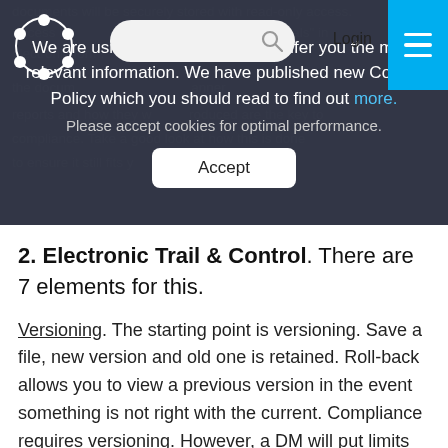[Figure (screenshot): Website navigation bar with logo, search bar, Login link, and blue hamburger menu button]
documents will be securely stored with read-only access. Access is... his protects the "originals" in electronic form.
We are using cookies in order to offer you the most relevant information. We have published new Cookie Policy which you should read to find out more. more. Please accept cookies for optimal performance.
Accept
2. Electronic Trail & Control. There are 7 elements for this.
Versioning. The starting point is versioning. Save a file, new version and old one is retained. Roll-back allows you to view a previous version in the event something is not right with the current. Compliance requires versioning. However, a DM will put limits